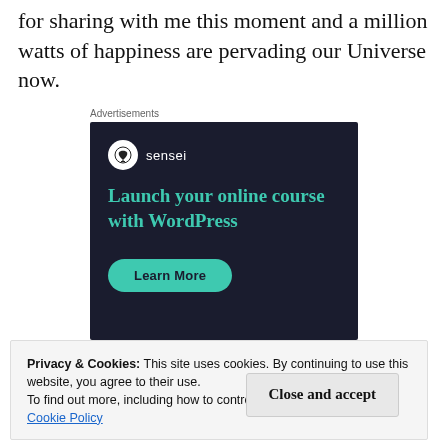for sharing with me this moment and a million watts of happiness are pervading our Universe now.
Advertisements
[Figure (screenshot): Sensei advertisement: dark navy background with Sensei logo (tree icon in white circle), teal headline text 'Launch your online course with WordPress', and a teal rounded 'Learn More' button.]
Privacy & Cookies: This site uses cookies. By continuing to use this website, you agree to their use.
To find out more, including how to control cookies, see here:
Cookie Policy
Close and accept